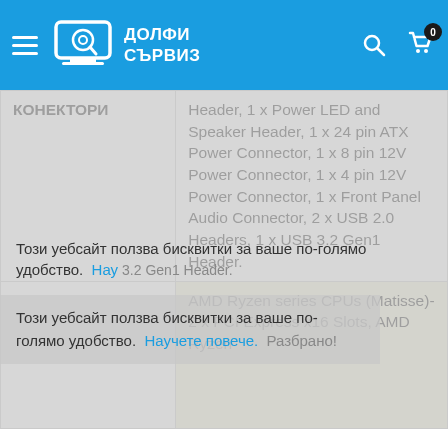ДОЛФИ СЪРВИЗ
|  |  |
| --- | --- |
| КОНЕКТОРИ | Header, 1 x Power LED and Speaker Header, 1 x 24 pin ATX Power Connector, 1 x 8 pin 12V Power Connector, 1 x 4 pin 12V Power Connector, 1 x Front Panel Audio Connector, 2 x USB 2.0 Headers, 1 x USB 3.2 Gen1 Header. |
|  | AMD Ryzen series CPUs (Matisse)- 2 x PCI Express x16 Slots, AMD Ryzen |
Този уебсайт ползва бисквитки за ваше по-голямо удобство. Научете повече. Разбрано!